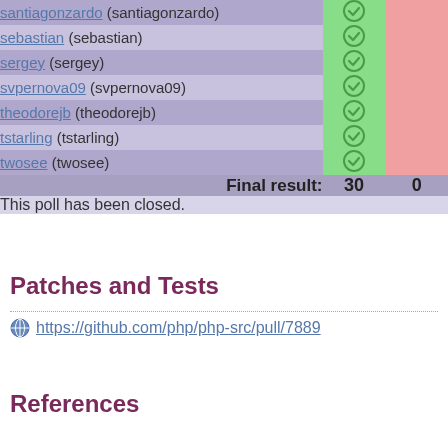| Name | Yes | No |
| --- | --- | --- |
| santiagonzardo (santiagonzardo) | ✓ |  |
| sebastian (sebastian) | ✓ |  |
| sergey (sergey) | ✓ |  |
| svpernova09 (svpernova09) | ✓ |  |
| theodorejb (theodorejb) | ✓ |  |
| tstarling (tstarling) | ✓ |  |
| twosee (twosee) | ✓ |  |
| Final result: | 30 | 0 |
This poll has been closed.
Patches and Tests
https://github.com/php/php-src/pull/7889
References